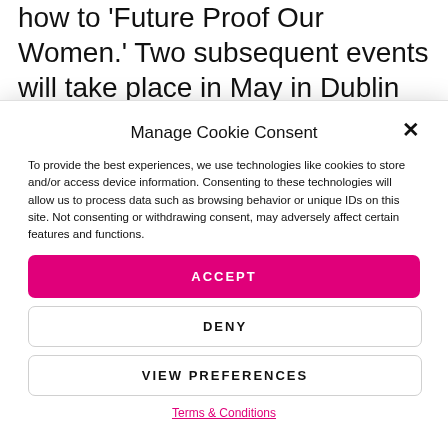how to 'Future Proof Our Women.' Two subsequent events will take place in May in Dublin and in November in Belfast.
Manage Cookie Consent
To provide the best experiences, we use technologies like cookies to store and/or access device information. Consenting to these technologies will allow us to process data such as browsing behavior or unique IDs on this site. Not consenting or withdrawing consent, may adversely affect certain features and functions.
ACCEPT
DENY
VIEW PREFERENCES
Terms & Conditions